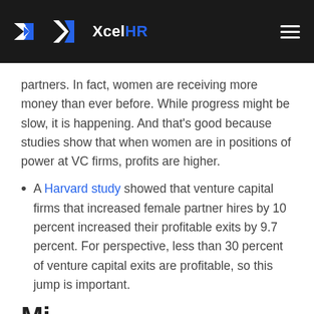XcelHR
partners. In fact, women are receiving more money than ever before. While progress might be slow, it is happening. And that's good because studies show that when women are in positions of power at VC firms, profits are higher.
A Harvard study showed that venture capital firms that increased female partner hires by 10 percent increased their profitable exits by 9.7 percent. For perspective, less than 30 percent of venture capital exits are profitable, so this jump is important.
Mi...